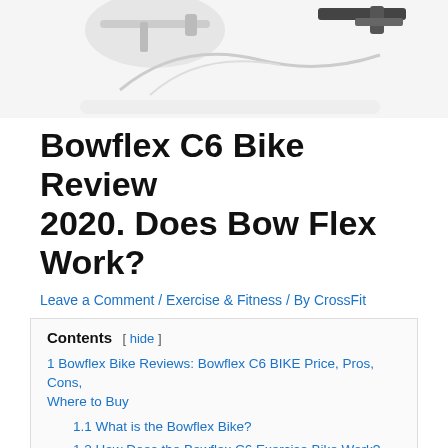[Figure (photo): Partial view of a Bowflex C6 exercise bike on a white/light gray background, showing handlebars and front frame]
Bowflex C6 Bike Review 2020. Does Bow Flex Work?
Leave a Comment / Exercise & Fitness / By CrossFit
Contents
1 Bowflex Bike Reviews: Bowflex C6 BIKE Price, Pros, Cons, Where to Buy
1.1  What is the Bowflex Bike?
1.2  How Does the Bowflex C6 Exercise Bike Work?
1.3  Features
1.4  does bowflex work With Peloton?
1.5  Bowflex reviews Pros and Cons